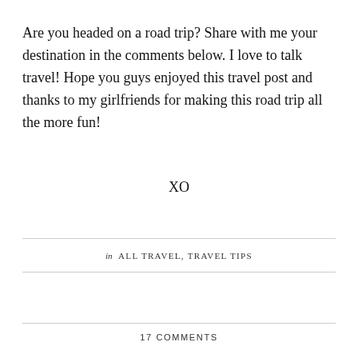Are you headed on a road trip? Share with me your destination in the comments below. I love to talk travel! Hope you guys enjoyed this travel post and thanks to my girlfriends for making this road trip all the more fun!
XO
in ALL TRAVEL, TRAVEL TIPS
[Figure (other): Social sharing icons: Facebook, Twitter, Pinterest. Scroll-to-top button (chevron up).]
17 COMMENTS